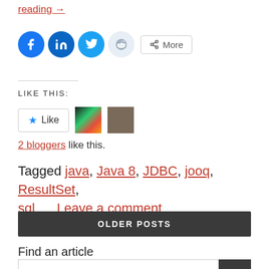reading →
[Figure (other): Social share buttons: Facebook, LinkedIn, Twitter, Reddit, More]
LIKE THIS:
[Figure (other): Like button with star icon and two blogger avatars]
2 bloggers like this.
Tagged java, Java 8, JDBC, jooq, ResultSet, sql     Leave a comment
OLDER POSTS
Find an article